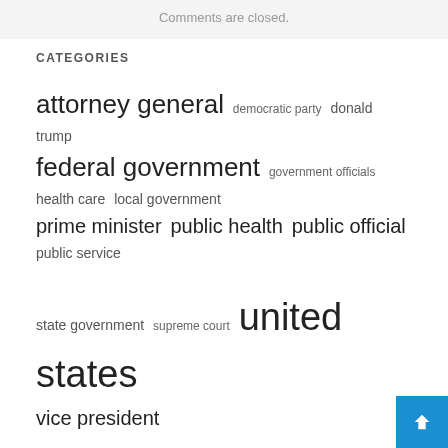Comments are closed.
CATEGORIES
attorney general  democratic party  donald trump  federal government  government officials  health care  local government  prime minister  public health  public official  public service  state government  supreme court  united states  vice president
Government Finance
Government Official
Governor
Politician